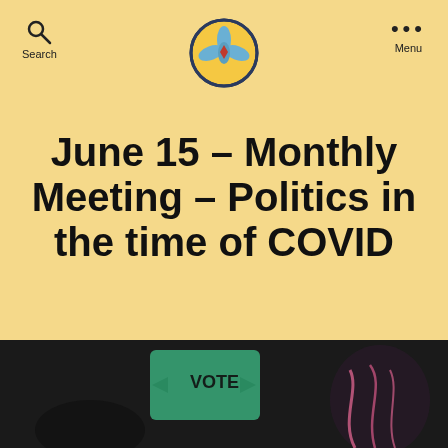[Figure (logo): Circular logo with blue petals/wings and a red diamond center on yellow background, with dark blue border]
Search   Menu
June 15 – Monthly Meeting – Politics in the time of COVID
June 13, 2020
[Figure (photo): Dark background photo showing a green VOTE sign and a person with braided hair with pink accessories]